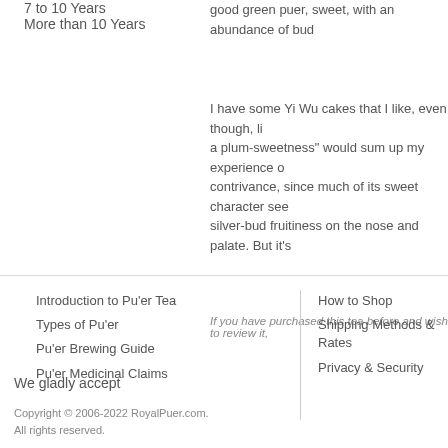7 to 10 Years
More than 10 Years
good green puer, sweet, with an abundance of bud
I have some Yi Wu cakes that I like, even though, li a plum-sweetness" would sum up my experience o contrivance, since much of its sweet character see silver-bud fruitiness on the nose and palate. But it's
If you have purchased this tea before and wish to review it,
Introduction to Pu'er Tea
Types of Pu'er
Pu'er Brewing Guide
Pu'er Medicinal Claims
How to Shop
Shipping Methods & Rates
Privacy & Security
We gladly accept
Copyright © 2006-2022 RoyalPuer.com. All rights reserved.